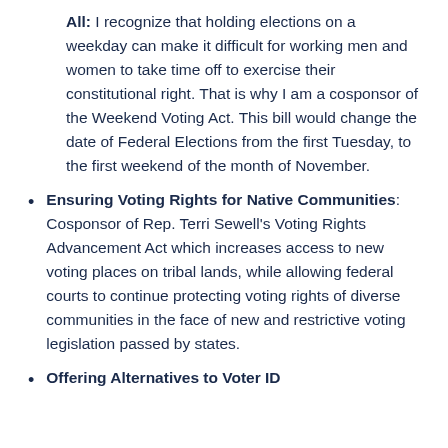All: I recognize that holding elections on a weekday can make it difficult for working men and women to take time off to exercise their constitutional right. That is why I am a cosponsor of the Weekend Voting Act. This bill would change the date of Federal Elections from the first Tuesday, to the first weekend of the month of November.
Ensuring Voting Rights for Native Communities: Cosponsor of Rep. Terri Sewell's Voting Rights Advancement Act which increases access to new voting places on tribal lands, while allowing federal courts to continue protecting voting rights of diverse communities in the face of new and restrictive voting legislation passed by states.
Offering Alternatives to Voter ID